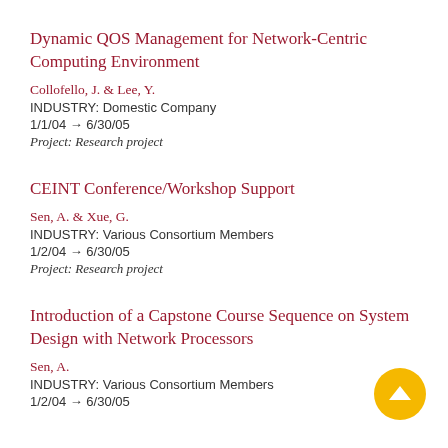Dynamic QOS Management for Network-Centric Computing Environment
Collofello, J. & Lee, Y.
INDUSTRY: Domestic Company
1/1/04 → 6/30/05
Project: Research project
CEINT Conference/Workshop Support
Sen, A. & Xue, G.
INDUSTRY: Various Consortium Members
1/2/04 → 6/30/05
Project: Research project
Introduction of a Capstone Course Sequence on System Design with Network Processors
Sen, A.
INDUSTRY: Various Consortium Members
1/2/04 → 6/30/05